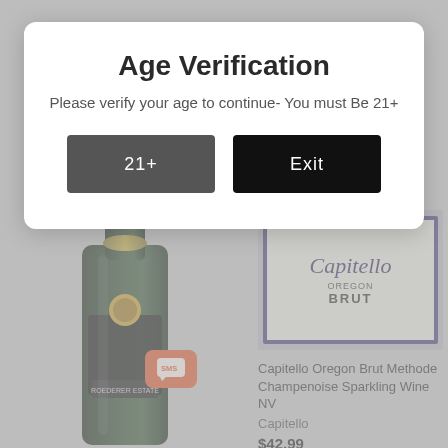Age Verification
Please verify your age to continue- You must Be 21+
[Figure (screenshot): Age verification modal dialog with two buttons: '21+' (dark gray) and 'Exit' (black), overlaying a wine product page showing a champagne bottle and Capitello Oregon Brut label]
Capitello Oregon Brut Methode Champenoise Sparkling Wine NV
Capitello
$42.99
Add to Cart